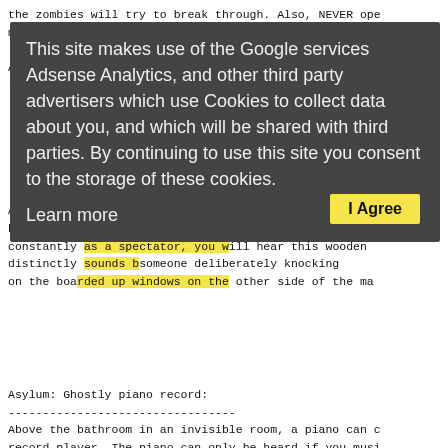the zombies will try to break through. Also, NEVER ope
more zombies.
This site makes use of the Google services Adsense Analytics, and other third party advertisers which use Cookies to collect data about you, and which will be shared with third parties. By continuing to use this site you consent to the storage of these cookies.
Learn more
I Agree
Asylum: Ghostly piano record:
--------------------------------
Above the bathroom in an invisible room, a piano can c
record player. The piano can only be heard if you musi
Cliffside: Strange voice:
----------------------------
On the Japanese spawn side of the map are two concrete
of the hill (with Japanese Flags on it) in Spectator m